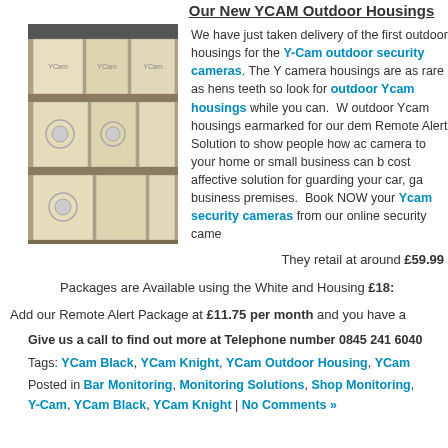Our New YCAM Outdoor Housings
[Figure (photo): Stacked boxes of YCAM outdoor camera housings on shelves]
We have just taken delivery of the first outdoor housings for the Y-Cam outdoor security cameras. The Ycam camera housings are as rare as hens teeth so look for outdoor Ycam housings while you can. We have outdoor Ycam housings earmarked for our demo Remote Alert Solution to show people how adding a camera to your home or small business can be a cost affective solution for guarding your car, garage or business premises. Book NOW your Ycam outdoor security cameras from our online security camera shop.
They retail at around £59.99
Packages are Available using the White and Housing £18...
Add our Remote Alert Package at £11.75 per month and you have a...
Give us a call to find out more at Telephone number 0845 241 6040
Tags: YCam Black, YCam Knight, YCam Outdoor Housing, YCam...
Posted in Bar Monitoring, Monitoring Solutions, Shop Monitoring, Y-Cam, YCam Black, YCam Knight | No Comments »